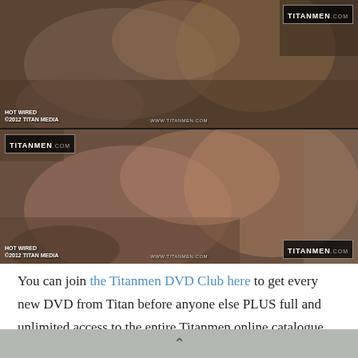[Figure (photo): Two stacked promotional photos from TitanMen adult film 'Hot Wired' (©2012 Titan Media). Both panels show muscular men in an industrial/construction setting. Each panel has 'HOT WIRED / ©2012 TITAN MEDIA' watermark at bottom-left, 'WWW.TITANMEN.COM' in center, and TitanMen logo at top-right or bottom-right.]
You can join the Titanmen DVD Club here to get every new DVD from Titan before anyone else PLUS full and unlimited access to the entire Titanmen online catalogue, streaming in